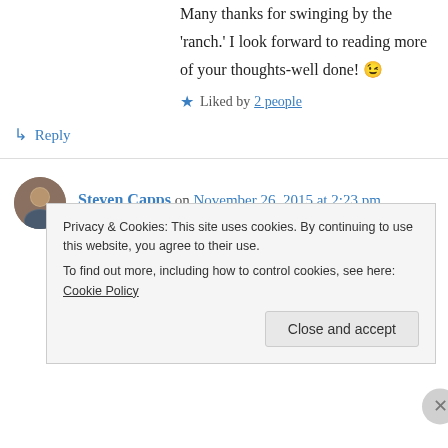Many thanks for swinging by the 'ranch.' I look forward to reading more of your thoughts-well done! 😉
★ Liked by 2 people
↳ Reply
Steven Capps on November 26, 2015 at 2:23 pm
Hi there, awesome concept and I hope your book is doing well! Obviously, your target demographic is women, but do you believe that
Privacy & Cookies: This site uses cookies. By continuing to use this website, you agree to their use. To find out more, including how to control cookies, see here: Cookie Policy